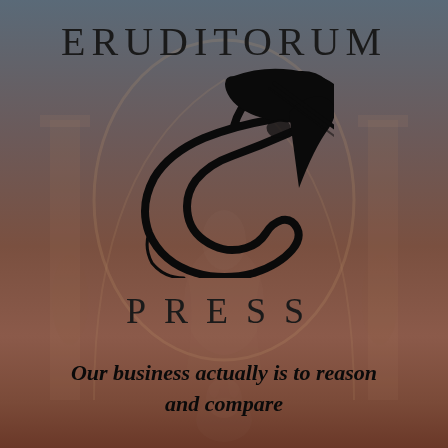[Figure (logo): Eruditorum Press logo page with muted dark reddish-brown background showing a faint Renaissance-style illustration of figures in an arched interior. The page features the word ERUDITORUM at the top, a stylized 'EP' calligraphic logo in the center, the word PRESS below, and a tagline at the bottom.]
ERUDITORUM
PRESS
Our business actually is to reason and compare